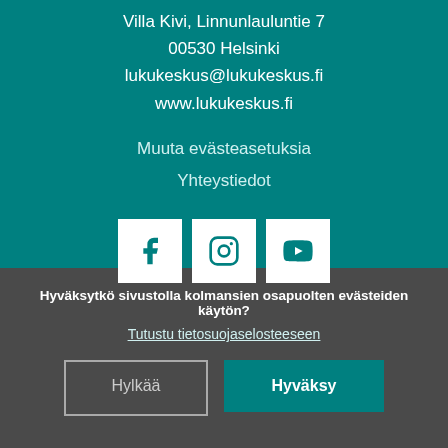Villa Kivi, Linnunlauluntie 7
00530 Helsinki
lukukeskus@lukukeskus.fi
www.lukukeskus.fi
Muuta evästeasetuksia
Yhteystiedot
[Figure (other): Three social media icons: Facebook, Instagram, YouTube — white squares with teal icons]
Hyväksytkö sivustolla kolmansien osapuolten evästeiden käytön?
Tutustu tietosuojaselosteeseen
Hylkää
Hyväksy